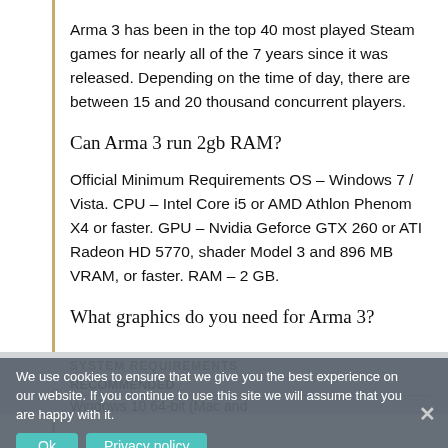Arma 3 has been in the top 40 most played Steam games for nearly all of the 7 years since it was released. Depending on the time of day, there are between 15 and 20 thousand concurrent players.
Can Arma 3 run 2gb RAM?
Official Minimum Requirements OS – Windows 7 / Vista. CPU – Intel Core i5 or AMD Athlon Phenom X4 or faster. GPU – Nvidia Geforce GTX 260 or ATI Radeon HD 5770, shader Model 3 and 896 MB VRAM, or faster. RAM – 2 GB.
What graphics do you need for Arma 3?
SYSTEM REQUIREMENTS
RECOMMENDED
Windows 10 64-bit (Mac and
We use cookies to ensure that we give you the best experience on our website. If you continue to use this site we will assume that you are happy with it.